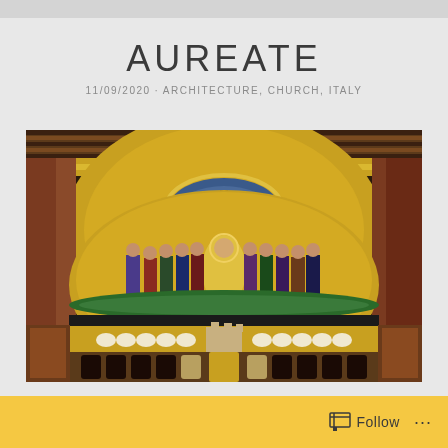AUREATE
11/09/2020 · ARCHITECTURE, CHURCH, ITALY
[Figure (photo): Interior of an Italian church showing a golden Byzantine mosaic apse with Christ enthroned surrounded by saints and apostles, ornate gilded decorations, and colorful religious paintings on the walls and ceiling.]
Follow ...